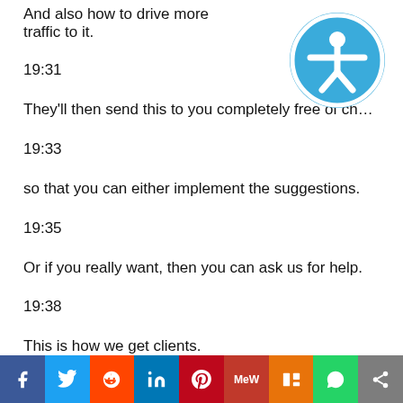And also how to drive more traffic to it.
19:31
They'll then send this to you completely free of ch...
19:33
so that you can either implement the suggestions.
19:35
Or if you really want, then you can ask us for help.
19:38
This is how we get clients.
[Figure (logo): Blue accessibility icon — circle with human figure outline (person with arms and legs spread), white silhouette on blue background]
[Figure (infographic): Social share bar with icons: Facebook (blue), Twitter (light blue), Reddit (orange-red), LinkedIn (blue), Pinterest (dark red), MeWe (red), Mix (orange), WhatsApp (green), Share (gray)]